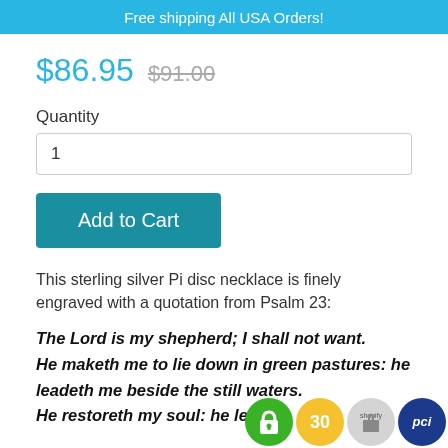Free shipping All USA Orders!
$86.95  $91.00
Quantity
1
Add to Cart
This sterling silver Pi disc necklace is finely engraved with a quotation from Psalm 23:
The Lord is my shepherd; I shall not want.
He maketh me to lie down in green pastures: he leadeth me beside the still waters.
He restoreth my soul: he leadeth
[Figure (other): Trust/security badges: green lock badge, yellow 30-day badge, gray Shopify badge, blue PCI badge]